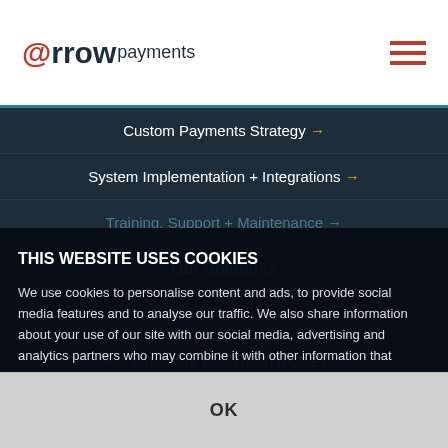@rrowpayments
Custom Payments Strategy →
System Implementation + Integrations →
Training, Support + Maintenance →
Our Solutions
Payment Hub Solutions →
Point-To-Point Encryption (P2PE) →
Device Installation →
Online Payments →
Credit Card Processing →
THIS WEBSITE USES COOKIES
We use cookies to personalise content and ads, to provide social media features and to analyse our traffic. We also share information about your use of our site with our social media, advertising and analytics partners who may combine it with other information that you've provided to them or that they've collected from your use of their services. See our privacy policy for more information.
OK